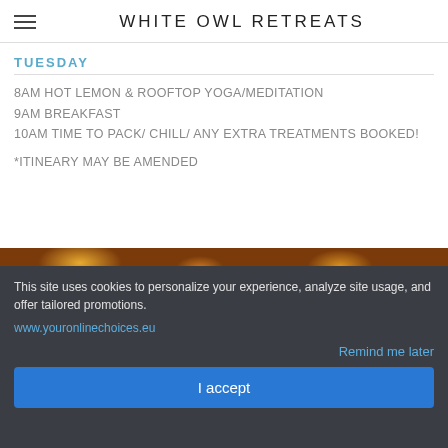WHITE OWL RETREATS
TUESDAY
8AM HOT LEMON & ROOFTOP YOGA/MEDITATION
9AM BREAKFAST
10AM TIME TO PACK/ CHILL/ ANY EXTRA TREATMENTS BOOKED!
*ITINEARY MAY BE AMENDED
[Figure (photo): Partial view of a food/nature photo with warm brown and golden tones]
This site uses cookies to personalize your experience, analyze site usage, and offer tailored promotions. www.youronlinechoices.eu
Remind me later
I accept